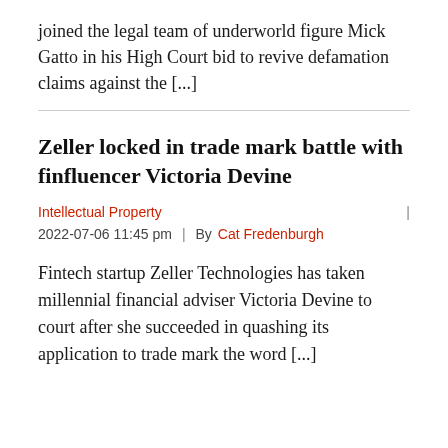joined the legal team of underworld figure Mick Gatto in his High Court bid to revive defamation claims against the [...]
Zeller locked in trade mark battle with finfluencer Victoria Devine
Intellectual Property
2022-07-06 11:45 pm  |  By  Cat Fredenburgh
Fintech startup Zeller Technologies has taken millennial financial adviser Victoria Devine to court after she succeeded in quashing its application to trade mark the word [...]